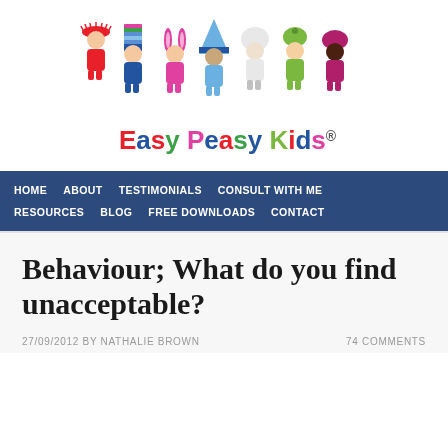[Figure (logo): Easy Peasy Kids logo with seven cartoon children characters in colorful costumes and 'Easy Peasy Kids' text in multicolored letters with registered trademark symbol]
HOME   ABOUT   TESTIMONIALS   CONSULT WITH ME   RESOURCES   BLOG   FREE DOWNLOADS   CONTACT
Behaviour; What do you find unacceptable?
27/09/2012 BY NATHALIE BROWN   74 COMMENTS